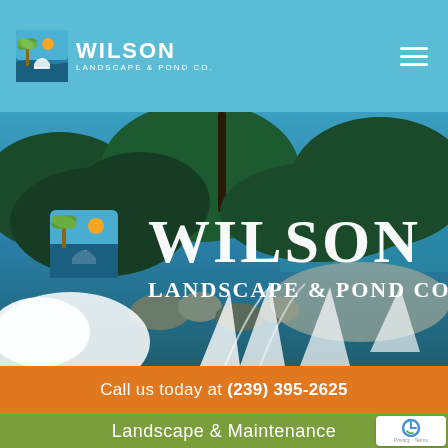WILSON LANDSCAPE & POND CO.
[Figure (photo): Hero banner showing Wilson Landscape & Pond Co. branding overlaid on a photograph of a tropical landscaped garden with palm trees, dense foliage, rocks, and a glimpse of ocean/water in the background. Large white text reads WILSON LANDSCAPE & POND CO. with the company logo icon on the left.]
Call us today at (239) 395-2625
Landscape & Maintenance